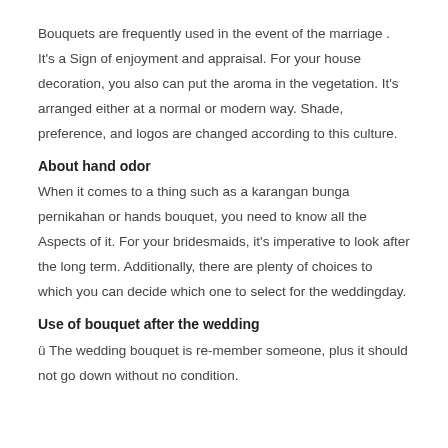Bouquets are frequently used in the event of the marriage . It's a Sign of enjoyment and appraisal. For your house decoration, you also can put the aroma in the vegetation. It's arranged either at a normal or modern way. Shade, preference, and logos are changed according to this culture.
About hand odor
When it comes to a thing such as a karangan bunga pernikahan or hands bouquet, you need to know all the Aspects of it. For your bridesmaids, it's imperative to look after the long term. Additionally, there are plenty of choices to which you can decide which one to select for the weddingday.
Use of bouquet after the wedding
ü The wedding bouquet is re-member someone, plus it should not go down without no condition.